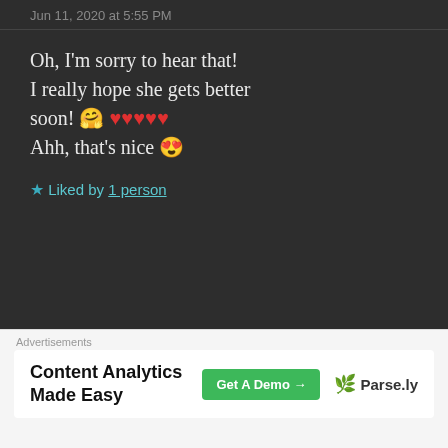Jun 11, 2020 at 5:55 PM
Oh, I'm sorry to hear that! I really hope she gets better soon! 🤗 ♥♥♥♥♥ Ahh, that's nice 😍
★ Liked by 1 person
THE BOLD GIRL says: Jun 11, 2020 at 5:59 PM
No no. I knew, you won't get it. 🙄 Now how do I tell you.🤔
[Figure (logo): The Bold Girl avatar - circular white logo with helicopter icon and text]
Advertisements
Content Analytics Made Easy   Get A Demo →   🌿 Parse.ly